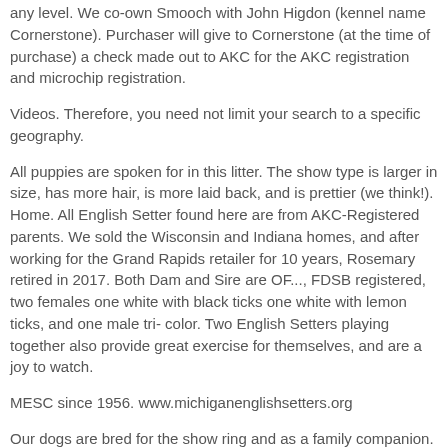any level. We co-own Smooch with John Higdon (kennel name Cornerstone). Purchaser will give to Cornerstone (at the time of purchase) a check made out to AKC for the AKC registration and microchip registration.
Videos. Therefore, you need not limit your search to a specific geography.
All puppies are spoken for in this litter. The show type is larger in size, has more hair, is more laid back, and is prettier (we think!). Home. All English Setter found here are from AKC-Registered parents. We sold the Wisconsin and Indiana homes, and after working for the Grand Rapids retailer for 10 years, Rosemary retired in 2017. Both Dam and Sire are OF..., FDSB registered, two females one white with black ticks one white with lemon ticks, and one male tri- color. Two English Setters playing together also provide great exercise for themselves, and are a joy to watch.
MESC since 1956. www.michiganenglishsetters.org
Our dogs are bred for the show ring and as a family companion. A